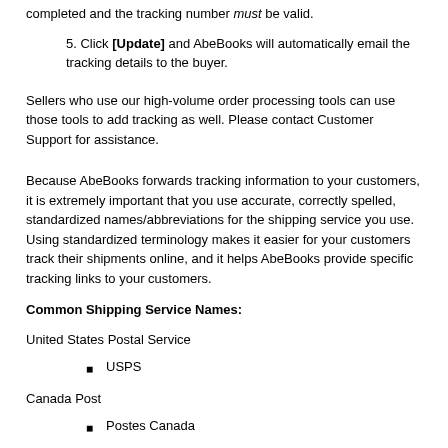completed and the tracking number must be valid.
5. Click [Update] and AbeBooks will automatically email the tracking details to the buyer.
Sellers who use our high-volume order processing tools can use those tools to add tracking as well. Please contact Customer Support for assistance.
Because AbeBooks forwards tracking information to your customers, it is extremely important that you use accurate, correctly spelled, standardized names/abbreviations for the shipping service you use. Using standardized terminology makes it easier for your customers track their shipments online, and it helps AbeBooks provide specific tracking links to your customers.
Common Shipping Service Names:
United States Postal Service
USPS
Canada Post
Postes Canada